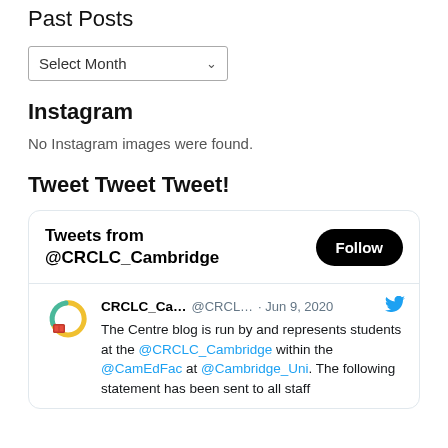Past Posts
[Figure (screenshot): A dropdown select box labeled 'Select Month' with a chevron arrow]
Instagram
No Instagram images were found.
Tweet Tweet Tweet!
[Figure (screenshot): Embedded Twitter widget showing tweets from @CRCLC_Cambridge with a Follow button and a tweet from CRCLC_Ca... dated Jun 9, 2020 reading: The Centre blog is run by and represents students at the @CRCLC_Cambridge within the @CamEdFac at @Cambridge_Uni. The following statement has been sent to all staff...]